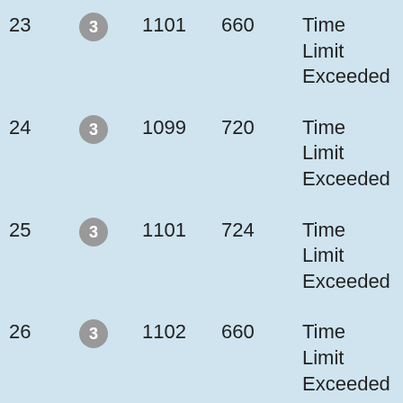| # | Level | N1 | N2 | Status | Score |
| --- | --- | --- | --- | --- | --- |
| 23 | 3 | 1101 | 660 | Time Limit Exceeded | 0 |
| 24 | 3 | 1099 | 720 | Time Limit Exceeded | 0 |
| 25 | 3 | 1101 | 724 | Time Limit Exceeded | 0 |
| 26 | 3 | 1102 | 660 | Time Limit Exceeded | 0 |
| 27 | 3 | 992 | 7440 | Accepted | 100 |
| 28 | 3 | 953 | 7368 | Accepted | 100 |
| 29 | 3 | 1101 | 724 | Time | 0 |